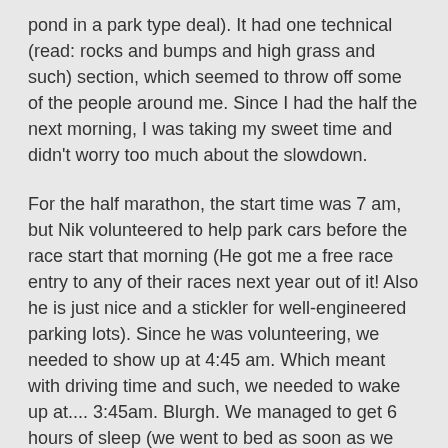pond in a park type deal). It had one technical (read: rocks and bumps and high grass and such) section, which seemed to throw off some of the people around me. Since I had the half the next morning, I was taking my sweet time and didn't worry too much about the slowdown.
For the half marathon, the start time was 7 am, but Nik volunteered to help park cars before the race start that morning (He got me a free race entry to any of their races next year out of it! Also he is just nice and a stickler for well-engineered parking lots). Since he was volunteering, we needed to show up at 4:45 am. Which meant with driving time and such, we needed to wake up at.... 3:45am. Blurgh. We managed to get 6 hours of sleep (we went to bed as soon as we could after the 5k ended), and race morning has so much adrenaline that it wasn't as bad as I expected it to be. I did take an EPIC nap that afternoon, though.